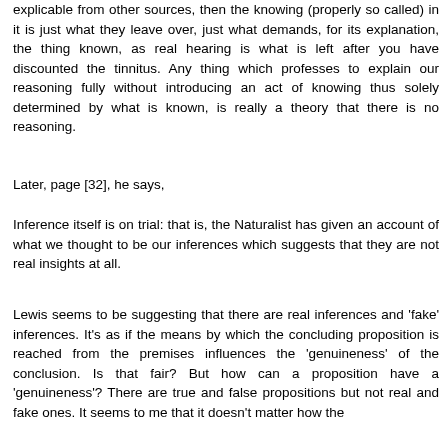explicable from other sources, then the knowing (properly so called) in it is just what they leave over, just what demands, for its explanation, the thing known, as real hearing is what is left after you have discounted the tinnitus. Any thing which professes to explain our reasoning fully without introducing an act of knowing thus solely determined by what is known, is really a theory that there is no reasoning.
Later, page [32], he says,
Inference itself is on trial: that is, the Naturalist has given an account of what we thought to be our inferences which suggests that they are not real insights at all.
Lewis seems to be suggesting that there are real inferences and 'fake' inferences. It's as if the means by which the concluding proposition is reached from the premises influences the 'genuineness' of the conclusion. Is that fair? But how can a proposition have a 'genuineness'? There are true and false propositions but not real and fake ones. It seems to me that it doesn't matter how the